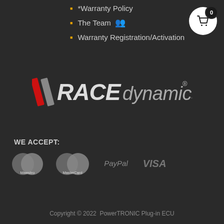*Warranty Policy
The Team
Warranty Registration/Activation
[Figure (logo): RACEdynamics logo with dual red diagonal stripes and white italic text]
WE ACCEPT:
[Figure (infographic): Payment method logos: Maestro, MasterCard, PayPal, VISA]
Copyright © 2022  PowerTRONIC Plug-in ECU